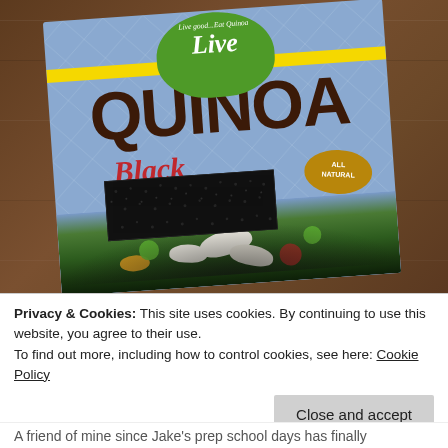[Figure (photo): A box of Live Quinoa Black (All Natural) product sitting on a wooden surface. The box has a blue background with a green circle logo at top reading 'Live good...Eat Quinoa' and 'Live', large brown text 'QUINOA', red italic text 'Black', a small all-natural badge, a swatch of black quinoa grains, and a food dish photo at the bottom.]
Privacy & Cookies: This site uses cookies. By continuing to use this website, you agree to their use.
To find out more, including how to control cookies, see here: Cookie Policy
Close and accept
A friend of mine since Jake's prep school days has finally